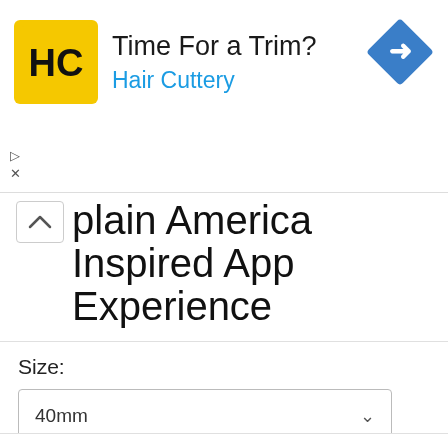[Figure (screenshot): Hair Cuttery advertisement banner with yellow HC logo, text 'Time For a Trim?' and 'Hair Cuttery' in blue, and a blue navigation diamond icon on the right. Small ad markers (triangle and X) on the left below the logo.]
plain America Inspired App Experience
Size:
We use cookies on our website to give you the most relevant experience by remembering your preferences and repeat visits. By clicking “Accept”, you consent to the use of ALL the cookies.
Do not sell my personal information.
Cookie settings
ACCEPT